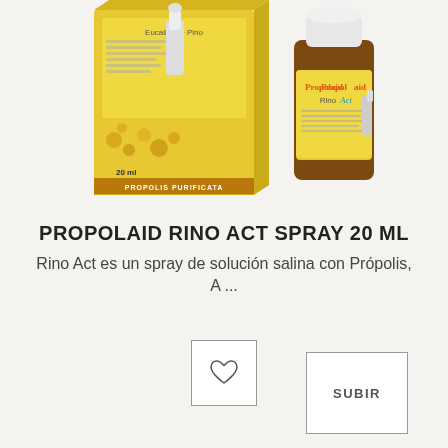[Figure (photo): Product photo showing Propolaid Rino Act Spray 20ml box and bottle. The box is yellow with a nasal spray image and 'PROPOLIS PURIFICATA' text. The amber bottle has a white cap and yellow label reading 'Propolaid Rino Act'.]
PROPOLAID RINO ACT SPRAY 20 ML
Rino Act es un spray de solución salina con Própolis, A ...
[Figure (other): Heart/favorite icon button (outline heart symbol inside a square border)]
[Figure (other): SUBIR button (square border with text SUBIR)]